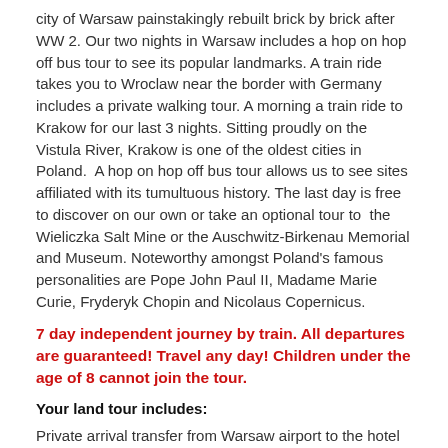city of Warsaw painstakingly rebuilt brick by brick after WW 2. Our two nights in Warsaw includes a hop on hop off bus tour to see its popular landmarks. A train ride takes you to Wroclaw near the border with Germany includes a private walking tour. A morning a train ride to Krakow for our last 3 nights. Sitting proudly on the Vistula River, Krakow is one of the oldest cities in Poland.  A hop on hop off bus tour allows us to see sites affiliated with its tumultuous history. The last day is free to discover on our own or take an optional tour to  the Wieliczka Salt Mine or the Auschwitz-Birkenau Memorial and Museum. Noteworthy amongst Poland's famous personalities are Pope John Paul II, Madame Marie Curie, Fryderyk Chopin and Nicolaus Copernicus.
7 day independent journey by train. All departures are guaranteed! Travel any day! Children under the age of 8 cannot join the tour.
Your land tour includes:
Private arrival transfer from Warsaw airport to the hotel
Centrally located first class or superior first-class hotels based on double occupancy
Daily breakfast